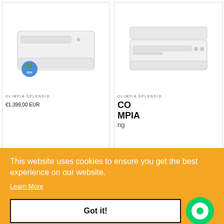[Figure (photo): Olimpia Splendid air conditioner unit (left product), white wall-mounted unit with eco badge]
[Figure (photo): Olimpia Splendid air conditioner unit (right product), white wall-mounted unit]
OLIMPIA SPLENDID
OLIMPIA SPLENDID
This website uses cookies to ensure you get the best experience on our website.
Learn More
Got it!
CO
MPIA
ng
€1.399,00 EUR